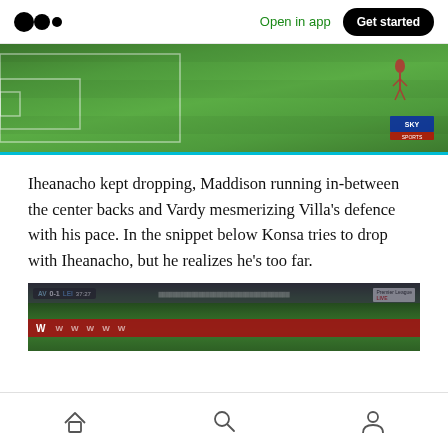Open in app | Get started
[Figure (screenshot): Football match screenshot showing a green pitch with white penalty box lines, a player visible in the upper right corner, and a Sky Sports TV watermark overlay]
Iheanacho kept dropping, Maddison running in-between the center backs and Vardy mesmerizing Villa's defence with his pace. In the snippet below Konsa tries to drop with Iheanacho, but he realizes he's too far.
[Figure (screenshot): Football match screenshot showing Aston Villa vs Leicester City with scoreboard reading AV 0-1 LEI 37:27, crowd in background, red Wbet advertising hoardings along the pitch]
Home | Search | Profile